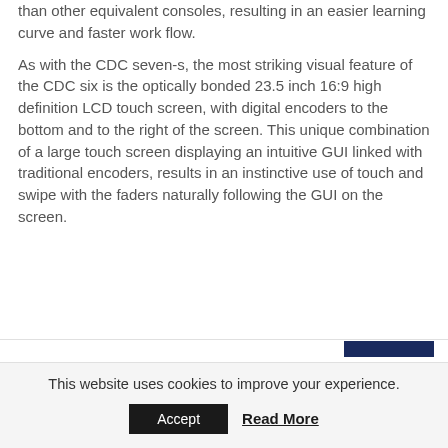than other equivalent consoles, resulting in an easier learning curve and faster work flow.
As with the CDC seven-s, the most striking visual feature of the CDC six is the optically bonded 23.5 inch 16:9 high definition LCD touch screen, with digital encoders to the bottom and to the right of the screen. This unique combination of a large touch screen displaying an intuitive GUI linked with traditional encoders, results in an instinctive use of touch and swipe with the faders naturally following the GUI on the screen.
This website uses cookies to improve your experience.
Accept
Read More